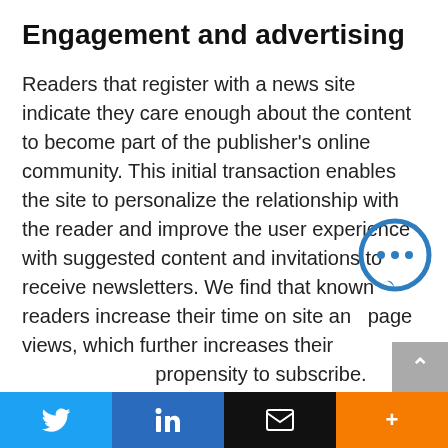Engagement and advertising
Readers that register with a news site indicate they care enough about the content to become part of the publisher’s online community. This initial transaction enables the site to personalize the relationship with the reader and improve the user experience with suggested content and invitations to receive newsletters. We find that known readers increase their time on site and page views, which further increases their propensity to subscribe.
Unfortunately, we do not often observe a
[Figure (illustration): Blue circular chat/message bubble icon with three dots inside]
[Figure (illustration): Gray scroll-up button with white chevron arrow]
[Figure (illustration): Bottom social sharing toolbar with Twitter, LinkedIn, email, and more buttons]